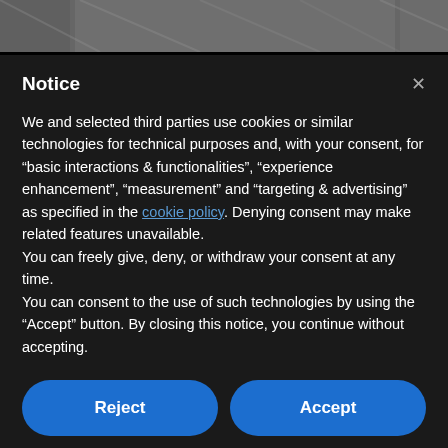[Figure (photo): Grayscale photo visible at top of page behind modal overlay]
Notice
We and selected third parties use cookies or similar technologies for technical purposes and, with your consent, for “basic interactions & functionalities”, “experience enhancement”, “measurement” and “targeting & advertising” as specified in the cookie policy. Denying consent may make related features unavailable.
You can freely give, deny, or withdraw your consent at any time.
You can consent to the use of such technologies by using the “Accept” button. By closing this notice, you continue without accepting.
Reject
Accept
Learn more and customize